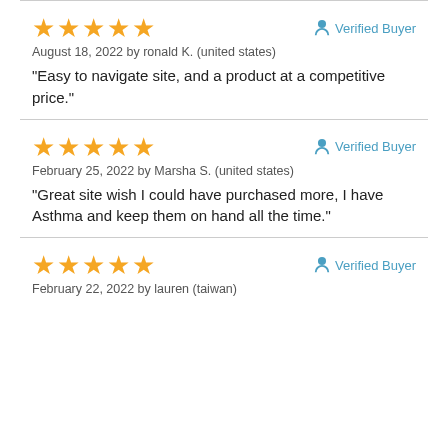★★★★★ Verified Buyer
August 18, 2022 by ronald K. (united states)
"Easy to navigate site, and a product at a competitive price."
★★★★★ Verified Buyer
February 25, 2022 by Marsha S. (united states)
"Great site wish I could have purchased more, I have Asthma and keep them on hand all the time."
★★★★★ Verified Buyer
February 22, 2022 by lauren (taiwan)